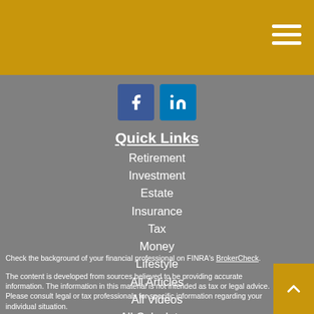[Figure (illustration): Facebook and LinkedIn social media icons]
Quick Links
Retirement
Investment
Estate
Insurance
Tax
Money
Lifestyle
All Articles
All Videos
All Calculators
All Presentations
Check the background of your financial professional on FINRA's BrokerCheck.
The content is developed from sources believed to be providing accurate information. The information in this material is not intended as tax or legal advice. Please consult legal or tax professionals for specific information regarding your individual situation.